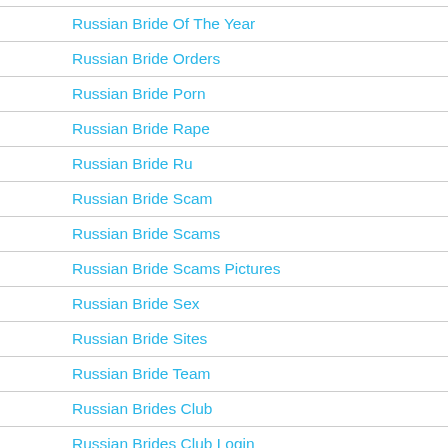Russian Bride Of The Year
Russian Bride Orders
Russian Bride Porn
Russian Bride Rape
Russian Bride Ru
Russian Bride Scam
Russian Bride Scams
Russian Bride Scams Pictures
Russian Bride Sex
Russian Bride Sites
Russian Bride Team
Russian Brides Club
Russian Brides Club Login